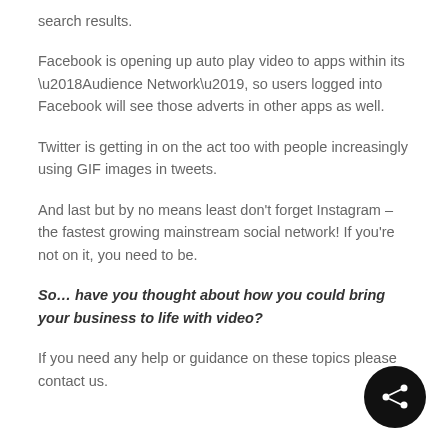search results.
Facebook is opening up auto play video to apps within its ‘Audience Network’, so users logged into Facebook will see those adverts in other apps as well.
Twitter is getting in on the act too with people increasingly using GIF images in tweets.
And last but by no means least don’t forget Instagram – the fastest growing mainstream social network! If you’re not on it, you need to be.
So… have you thought about how you could bring your business to life with video?
If you need any help or guidance on these topics please contact us.